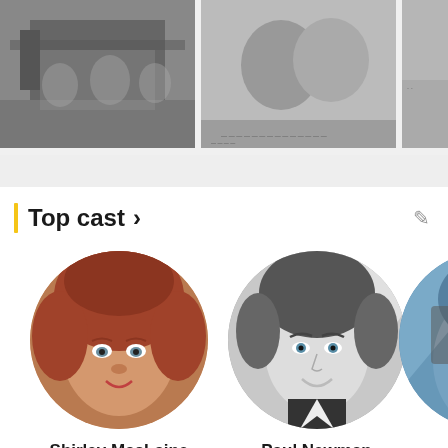[Figure (photo): Black and white movie still showing crowd scene]
[Figure (photo): Black and white movie still showing two people in close-up]
[Figure (photo): Partially visible black and white movie still]
Top cast >
[Figure (photo): Circular portrait photo of Shirley MacLaine, a woman with short red hair]
Shirley MacLaine
Louisa May Foster
[Figure (photo): Circular portrait photo of Paul Newman, black and white, man in suit smiling]
Paul Newman
Larry Flint
[Figure (photo): Partially visible circular portrait of a third cast member]